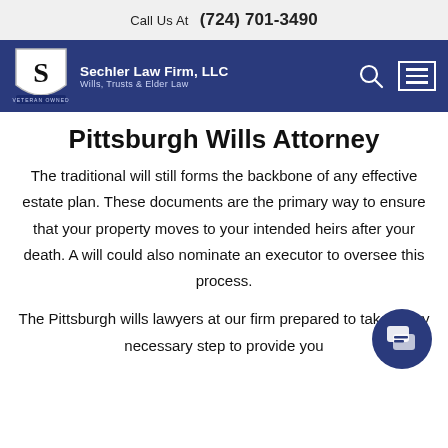Call Us At   (724) 701-3490
[Figure (logo): Sechler Law Firm, LLC logo with shield and S letter, Wills, Trusts & Elder Law tagline]
Pittsburgh Wills Attorney
The traditional will still forms the backbone of any effective estate plan. These documents are the primary way to ensure that your property moves to your intended heirs after your death. A will could also nominate an executor to oversee this process.
The Pittsburgh wills lawyers at our firm prepared to take every necessary step to provide you